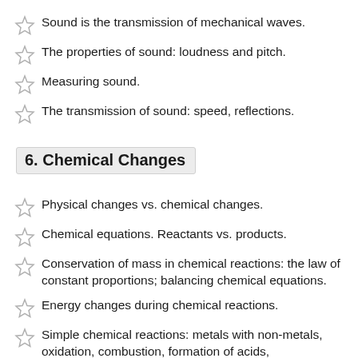Sound is the transmission of mechanical waves.
The properties of sound: loudness and pitch.
Measuring sound.
The transmission of sound: speed, reflections.
6. Chemical Changes
Physical changes vs. chemical changes.
Chemical equations. Reactants vs. products.
Conservation of mass in chemical reactions: the law of constant proportions; balancing chemical equations.
Energy changes during chemical reactions.
Simple chemical reactions: metals with non-metals, oxidation, combustion, formation of acids,